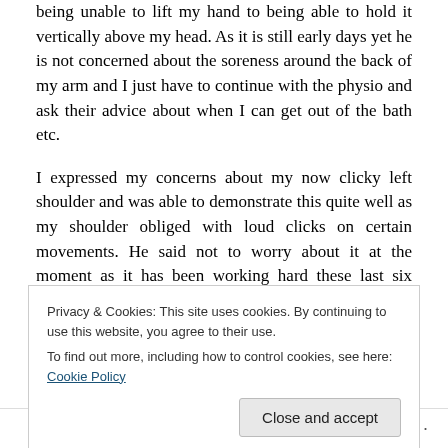being unable to lift my hand to being able to hold it vertically above my head. As it is still early days yet he is not concerned about the soreness around the back of my arm and I just have to continue with the physio and ask their advice about when I can get out of the bath etc.
I expressed my concerns about my now clicky left shoulder and was able to demonstrate this quite well as my shoulder obliged with loud clicks on certain movements. He said not to worry about it at the moment as it has been working hard these last six weeks however at my next appointment in three months time they will get
Privacy & Cookies: This site uses cookies. By continuing to use this website, you agree to their use.
To find out more, including how to control cookies, see here: Cookie Policy
Follow